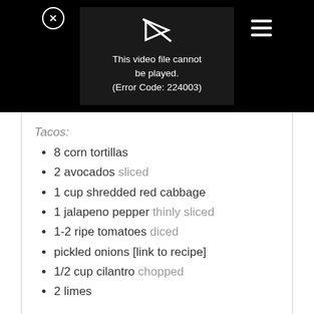[Figure (screenshot): Black header bar with a video player showing an error message: 'This video file cannot be played. (Error Code: 224003)'. There is a close button (circled X) on the left and a hamburger menu icon on the right.]
Tacos:
8 corn tortillas
2 avocados sliced
1 cup shredded red cabbage
1 jalapeno pepper thinly sliced
1-2 ripe tomatoes diced
pickled onions [link to recipe]
1/2 cup cilantro chopped
2 limes